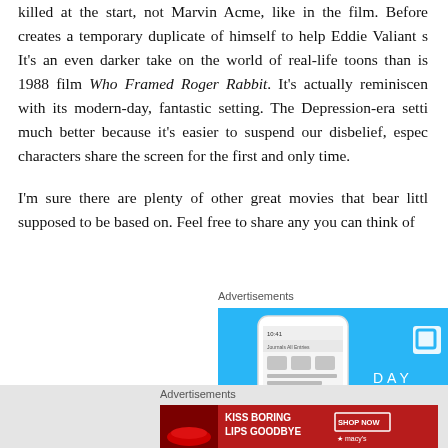killed at the start, not Marvin Acme, like in the film. Before creates a temporary duplicate of himself to help Eddie Valiant s It's an even darker take on the world of real-life toons than is 1988 film Who Framed Roger Rabbit. It's actually reminiscen with its modern-day, fantastic setting. The Depression-era setti much better because it's easier to suspend our disbelief, espec characters share the screen for the first and only time.
I'm sure there are plenty of other great movies that bear littl supposed to be based on. Feel free to share any you can think of
Advertisements
[Figure (screenshot): Advertisement banner showing a mobile phone app interface on a blue background with 'DAYO' text]
Advertisements
[Figure (photo): Advertisement for Macy's: 'KISS BORING LIPS GOODBYE' with SHOP NOW button, woman's face with red lipstick]